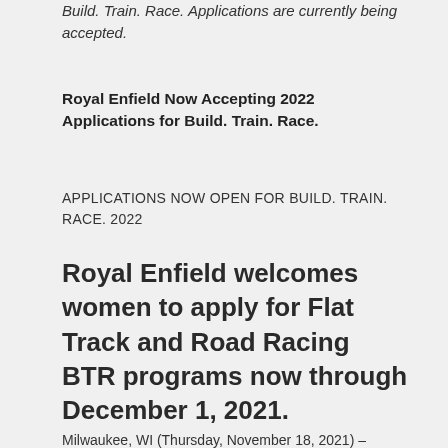Build. Train. Race. Applications are currently being accepted.
Royal Enfield Now Accepting 2022 Applications for Build. Train. Race.
APPLICATIONS NOW OPEN FOR BUILD. TRAIN. RACE. 2022
Royal Enfield welcomes women to apply for Flat Track and Road Racing BTR programs now through December 1, 2021.
Milwaukee, WI (Thursday, November 18, 2021) –